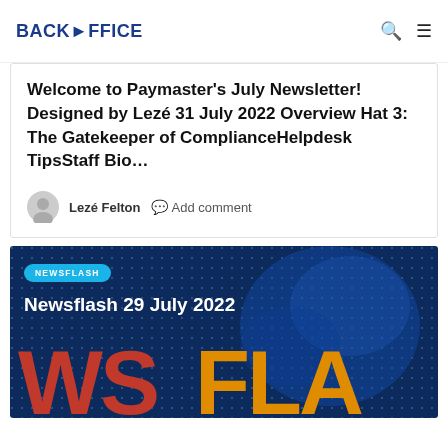BACKOFFICE
Welcome to Paymaster's July Newsletter! Designed by Lezé 31 July 2022 Overview Hat 3: The Gatekeeper of ComplianceHelpdesk TipsStaff Bio…
Lezé Felton   Add comment
[Figure (photo): Dark blue digital network background with dot grid pattern, showing a newsflash article card with badge 'NEWSFLASH', title 'Newsflash 29 July 2022', and large partially visible text 'WS FLA' in red and orange]
Newsflash 29 July 2022